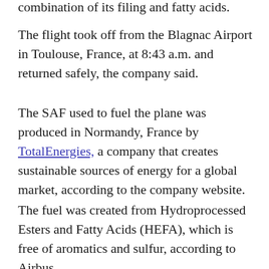combination of its filing and fatty acids.
The flight took off from the Blagnac Airport in Toulouse, France, at 8:43 a.m. and returned safely, the company said.
The SAF used to fuel the plane was produced in Normandy, France by TotalEnergies, a company that creates sustainable sources of energy for a global market, according to the company website.
The fuel was created from Hydroprocessed Esters and Fatty Acids (HEFA), which is free of aromatics and sulfur, according to Airbus.
This is the third flight an Airbus aircraft has executed using 100% SAF over the past year, the company said. The first flight was on an Airbus A350 in March 2021; the second flight was on an A319 — and it begins here...